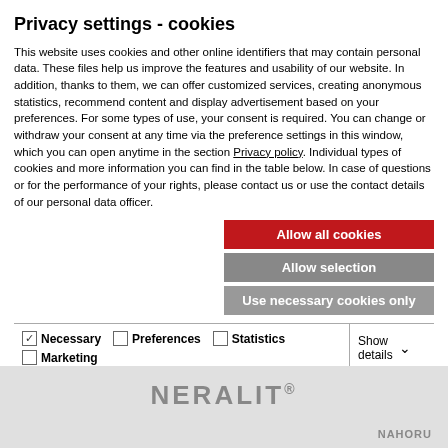Privacy settings - cookies
This website uses cookies and other online identifiers that may contain personal data. These files help us improve the features and usability of our website. In addition, thanks to them, we can offer customized services, creating anonymous statistics, recommend content and display advertisement based on your preferences. For some types of use, your consent is required. You can change or withdraw your consent at any time via the preference settings in this window, which you can open anytime in the section Privacy policy. Individual types of cookies and more information you can find in the table below. In case of questions or for the performance of your rights, please contact us or use the contact details of our personal data officer.
Allow all cookies
Allow selection
Use necessary cookies only
| Necessary | Preferences | Statistics | Marketing | Show details |
| --- | --- | --- | --- | --- |
NERALIT®
NAHORU